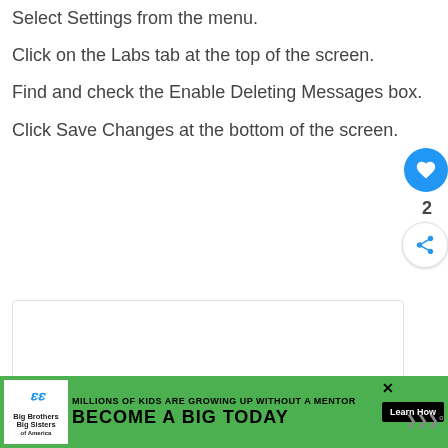Select Settings from the menu.
Click on the Labs tab at the top of the screen.
Find and check the Enable Deleting Messages box.
Click Save Changes at the bottom of the screen.
[Figure (screenshot): A screenshot placeholder box with three navigation dots at the bottom and a blue heart/like button (count: 2) and share button on the right side.]
[Figure (infographic): Big Brothers Big Sisters advertisement banner: 'MILLIONS OF KIDS ARE GROWING UP WITHOUT A MENTOR — BECOME A BIG TODAY' with a Learn How button.]